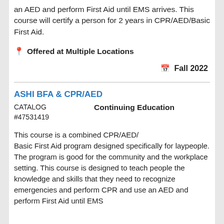an AED and perform First Aid until EMS arrives. This course will certify a person for 2 years in CPR/AED/Basic First Aid.
📍 Offered at Multiple Locations
🗓 Fall 2022
ASHI BFA & CPR/AED
CATALOG #47531419
Continuing Education
This course is a combined CPR/AED/Basic First Aid program designed specifically for laypeople. The program is good for the community and the workplace setting. This course is designed to teach people the knowledge and skills that they need to recognize emergencies and perform CPR and use an AED and perform First Aid until EMS